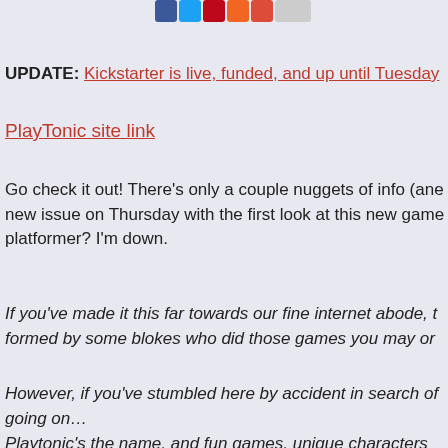[Figure (other): Social media share/follow icon buttons: Facebook, Twitter, Pinterest, RSS, Google+, Email]
UPDATE: Kickstarter is live, funded, and up until Tuesday
PlayTonic site link
Go check it out! There's only a couple nuggets of info (and new issue on Thursday with the first look at this new game platformer? I'm down.
If you've made it this far towards our fine internet abode, formed by some blokes who did those games you may or
However, if you've stumbled here by accident in search of going on…
Playtonic's the name, and fun games, unique characters